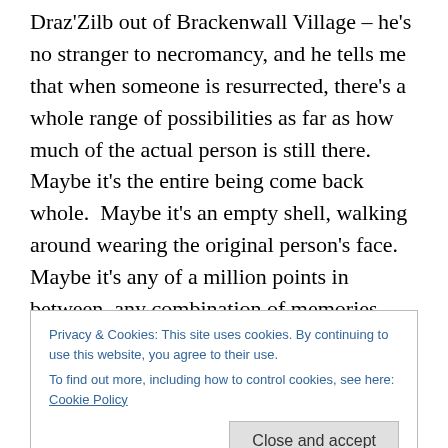Draz'Zilb out of Brackenwall Village – he's no stranger to necromancy, and he tells me that when someone is resurrected, there's a whole range of possibilities as far as how much of the actual person is still there.  Maybe it's the entire being come back whole.  Maybe it's an empty shell, walking around wearing the original person's face.  Maybe it's any of a million points in between, any combination of memories, motivations, personality, will…anyway, he tells me it wouldn't be much of a stretch at all to rig things so whoever you're raising is going to be perfectly cooperative, whoever you happen to be.
Privacy & Cookies: This site uses cookies. By continuing to use this website, you agree to their use.
To find out more, including how to control cookies, see here: Cookie Policy
my head all day.  I ended up needing to get out of my war